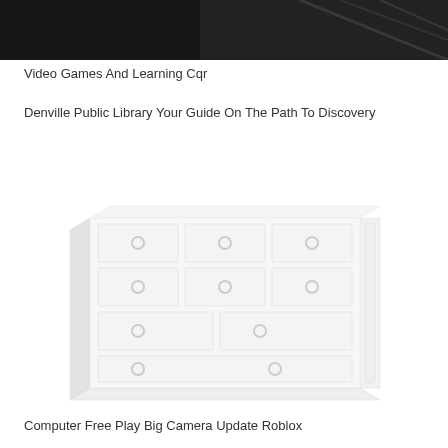[Figure (photo): Dark/black image at top of page, appears to be a dimly lit scene with cables or cords visible]
Video Games And Learning Cqr
Denville Public Library Your Guide On The Path To Discovery
[Figure (photo): Image of a white dresser or chest of drawers with circular ring pulls on each drawer, shown in a perspective/angled view on white background]
Computer Free Play Big Camera Update Roblox